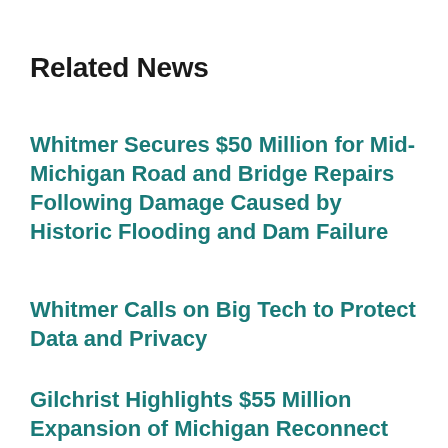Related News
Whitmer Secures $50 Million for Mid-Michigan Road and Bridge Repairs Following Damage Caused by Historic Flooding and Dam Failure
Whitmer Calls on Big Tech to Protect Data and Privacy
Gilchrist Highlights $55 Million Expansion of Michigan Reconnect